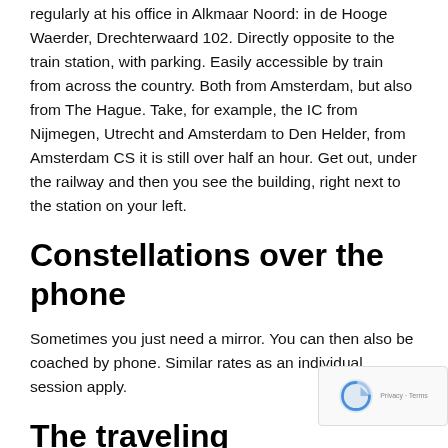regularly at his office in Alkmaar Noord: in de Hooge Waerder, Drechterwaard 102. Directly opposite to the train station, with parking. Easily accessible by train from across the country. Both from Amsterdam, but also from The Hague. Take, for example, the IC from Nijmegen, Utrecht and Amsterdam to Den Helder, from Amsterdam CS it is still over half an hour. Get out, under the railway and then you see the building, right next to the station on your left.
Constellations over the phone
Sometimes you just need a mirror. You can then also be coached by phone. Similar rates as an individual session apply.
The traveling constellator
If you live in another part of the Netherlands and would like individual sessions, the next best thing to the station of...